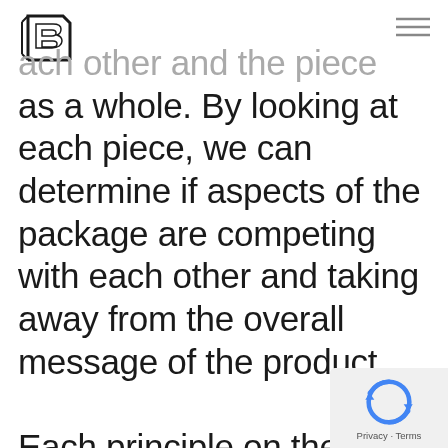[Figure (logo): Block B geometric logo in outline style, top left]
[Figure (other): Hamburger menu icon (three horizontal lines) top right]
each other and the piece as a whole. By looking at each piece, we can determine if aspects of the package are competing with each other and taking away from the overall message of the product.

Each principle on their own can be a powerful tool for designers but when they are
[Figure (other): reCAPTCHA privacy badge bottom right with Privacy · Terms text]